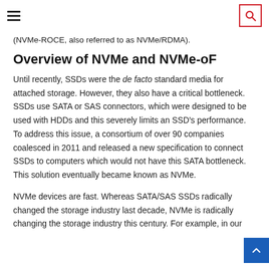Navigation header with hamburger menu and search icon
(NVMe-ROCE, also referred to as NVMe/RDMA).
Overview of NVMe and NVMe-oF
Until recently, SSDs were the de facto standard media for attached storage. However, they also have a critical bottleneck. SSDs use SATA or SAS connectors, which were designed to be used with HDDs and this severely limits an SSD's performance. To address this issue, a consortium of over 90 companies coalesced in 2011 and released a new specification to connect SSDs to computers which would not have this SATA bottleneck. This solution eventually became known as NVMe.
NVMe devices are fast. Whereas SATA/SAS SSDs radically changed the storage industry last decade, NVMe is radically changing the storage industry this century. For example, in our